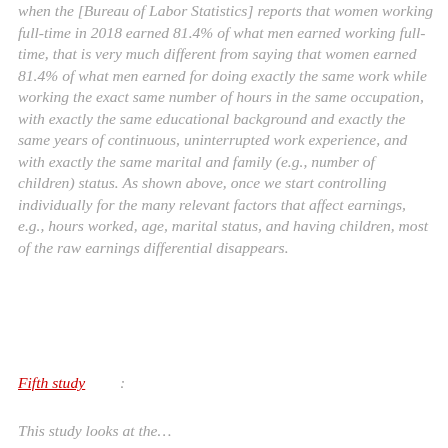when the [Bureau of Labor Statistics] reports that women working full-time in 2018 earned 81.4% of what men earned working full-time, that is very much different from saying that women earned 81.4% of what men earned for doing exactly the same work while working the exact same number of hours in the same occupation, with exactly the same educational background and exactly the same years of continuous, uninterrupted work experience, and with exactly the same marital and family (e.g., number of children) status. As shown above, once we start controlling individually for the many relevant factors that affect earnings, e.g., hours worked, age, marital status, and having children, most of the raw earnings differential disappears.
Fifth study:
This study looks at the…